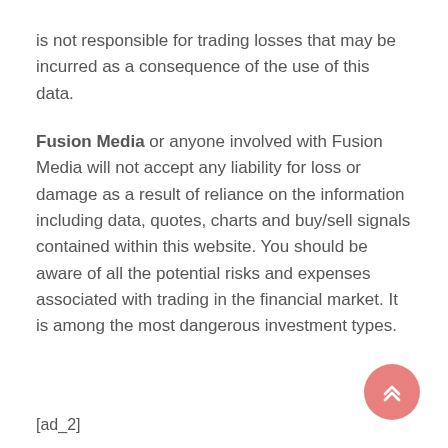is not responsible for trading losses that may be incurred as a consequence of the use of this data.
Fusion Media or anyone involved with Fusion Media will not accept any liability for loss or damage as a result of reliance on the information including data, quotes, charts and buy/sell signals contained within this website. You should be aware of all the potential risks and expenses associated with trading in the financial market. It is among the most dangerous investment types.
[ad_2]